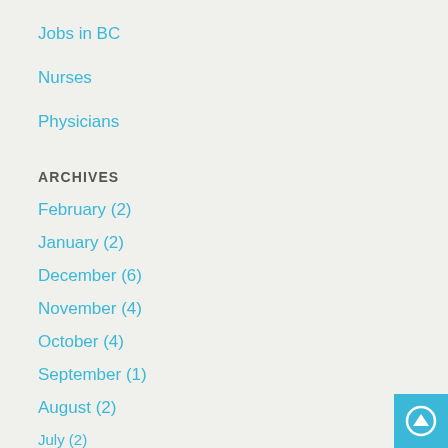Jobs in BC
Nurses
Physicians
ARCHIVES
February (2)
January (2)
December (6)
November (4)
October (4)
September (1)
August (2)
July (2)
June (1)